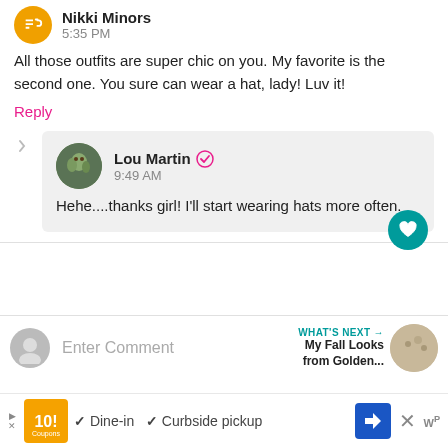Nikki Minors
5:35 PM
All those outfits are super chic on you. My favorite is the second one. You sure can wear a hat, lady! Luv it!
Reply
Lou Martin
9:49 AM
Hehe....thanks girl! I'll start wearing hats more often.
Enter Comment
WHAT'S NEXT → My Fall Looks from Golden...
✓ Dine-in  ✓ Curbside pickup